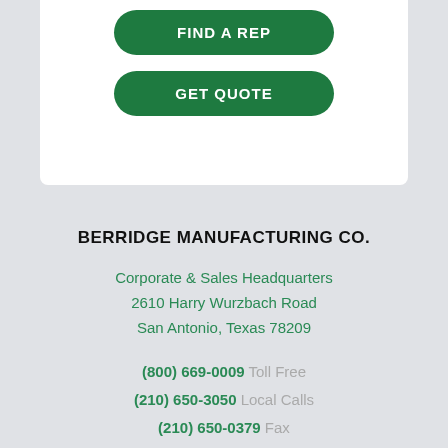[Figure (other): White card section with two green rounded buttons: FIND A REP and GET QUOTE]
BERRIDGE MANUFACTURING CO.
Corporate & Sales Headquarters
2610 Harry Wurzbach Road
San Antonio, Texas 78209
(800) 669-0009 Toll Free
(210) 650-3050 Local Calls
(210) 650-0379 Fax